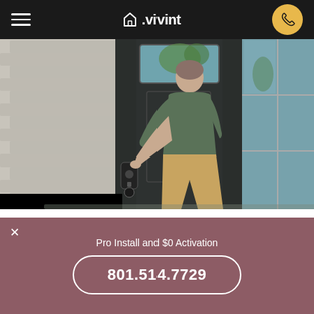Vivint navigation bar with hamburger menu, Vivint logo, and call button
[Figure (photo): A man in a green t-shirt and khaki shorts seen from behind, reaching toward a smart lock on a dark front door. The house has gray shingle siding on the left and glass windows on the right.]
There's no better time to get Vivint in Ferron, Utah
Pro Install and $0 Activation
801.514.7729